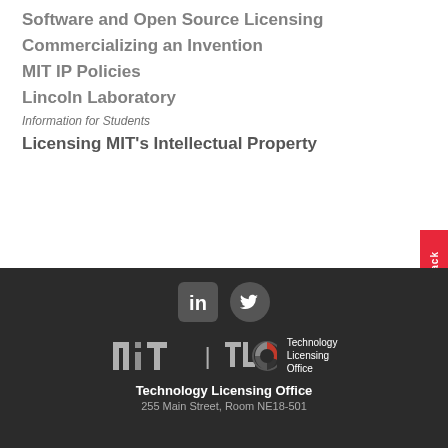Software and Open Source Licensing
Commercializing an Invention
MIT IP Policies
Lincoln Laboratory
Information for Students
Licensing MIT's Intellectual Property
[Figure (logo): LinkedIn and Twitter social media icons in white on dark background]
[Figure (logo): MIT TLO logo with circular red and grey emblem, text Technology Licensing Office]
Technology Licensing Office
255 Main Street, Room NE18-501